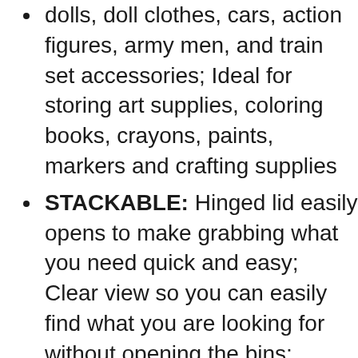dolls, doll clothes, cars, action figures, army men, and train set accessories; Ideal for storing art supplies, coloring books, crayons, paints, markers and crafting supplies
STACKABLE: Hinged lid easily opens to make grabbing what you need quick and easy; Clear view so you can easily find what you are looking for without opening the bins; Stackable for creating vertical storage to maximize storage spaces; Use individually or together to create a custom storage system that works for you; Keep items contained, organized and dust free; mDESIGN TIP: take advantage of vertical space to maximize your storage potential – stack and store